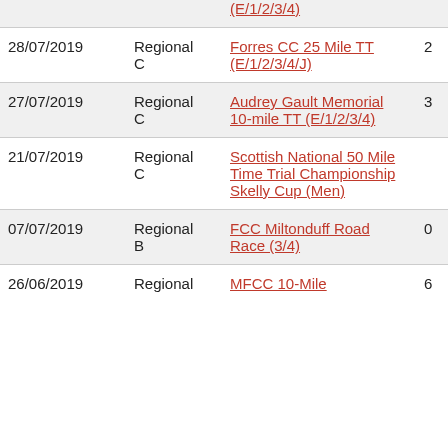| Date | Category | Event | Col1 | Col2 |
| --- | --- | --- | --- | --- |
|  |  | (E/1/2/3/4) |  |  |
| 28/07/2019 | Regional C | Forres CC 25 Mile TT (E/1/2/3/4/J) | 2 | 0 |
| 27/07/2019 | Regional C | Audrey Gault Memorial 10-mile TT (E/1/2/3/4) | 3 | 0 |
| 21/07/2019 | Regional C | Scottish National 50 Mile Time Trial Championship Skelly Cup (Men) |  |  |
| 07/07/2019 | Regional B | FCC Miltonduff Road Race (3/4) | 0 | 0 |
| 26/06/2019 | Regional | MFCC 10-Mile | 6 | 0 |